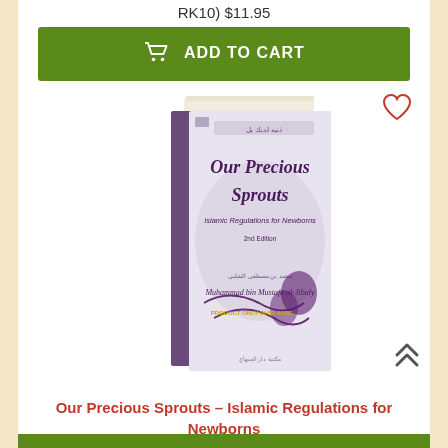RK10) $11.95
[Figure (screenshot): Green 'ADD TO CART' button with shopping cart icon]
[Figure (photo): Book cover of 'Our Precious Sprouts - Islamic Regulations for Newborns' with purple/white decorative design, heart/wishlist icon top right, scroll-up chevron bottom right]
Our Precious Sprouts – Islamic Regulations for Newborns
RK02) $12.95